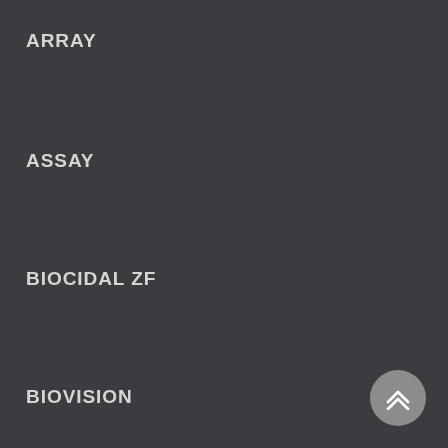ARRAY
ASSAY
BIOCIDAL ZF
BIOVISION
BLOG
BSG
BTLABS
CHONDREX
CREATIVE ENZYMES